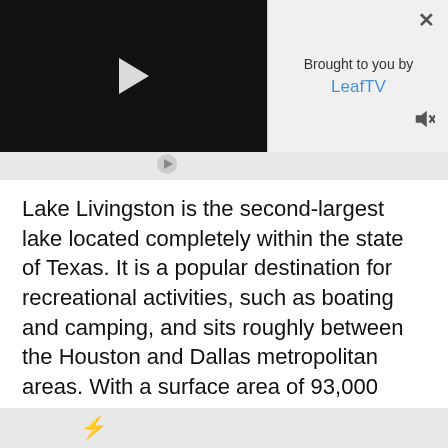[Figure (screenshot): Video player with black background and white play button triangle in center]
Brought to you by LeafTV
Lake Livingston is the second-largest lake located completely within the state of Texas. It is a popular destination for recreational activities, such as boating and camping, and sits roughly between the Houston and Dallas metropolitan areas. With a surface area of 93,000 acres, Lake Livingston boasts over 5,000 campsites and is within the boundaries of four Texas counties, as well as Wolf Creek Park, Tiger Park, and Lake Livingstone State Park. Despite its size, Lake Livingston has an average depth of about 23 feet.